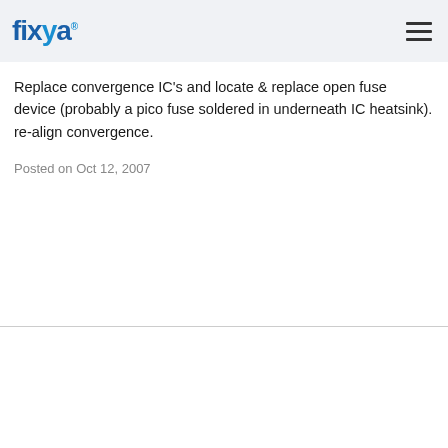fixya
Replace convergence IC's and locate & replace open fuse
device (probably a pico fuse soldered in underneath IC heatsink).
re-align convergence.
Posted on Oct 12, 2007